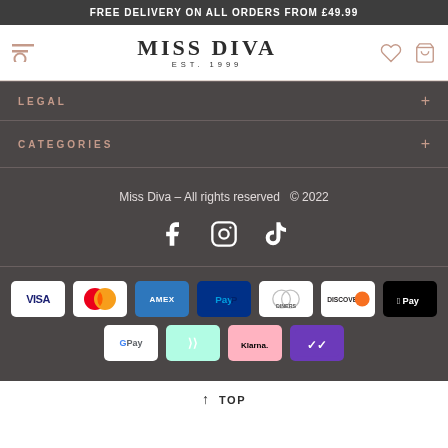FREE DELIVERY ON ALL ORDERS FROM £49.99
[Figure (logo): Miss Diva EST. 1999 logo with hamburger/search menu icon on left, heart and shopping bag icons on right]
LEGAL
CATEGORIES
Miss Diva – All rights reserved  © 2022
[Figure (infographic): Social media icons: Facebook, Instagram, TikTok]
[Figure (infographic): Payment method icons: VISA, Mastercard, AMEX, PayPal, Diners Club, Discover, Apple Pay, Google Pay, Afterpay, Klarna, Laybuy]
↑ TOP